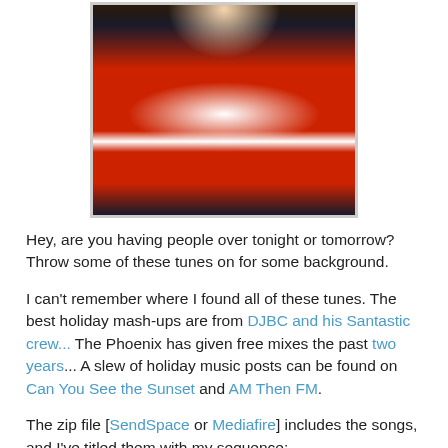[Figure (photo): Person dressed as Santa Claus in red suit with white beard, holding a can and giving thumbs up]
Hey, are you having people over tonight or tomorrow? Throw some of these tunes on for some background.
I can't remember where I found all of these tunes. The best holiday mash-ups are from DJBC and his Santastic crew... The Phoenix has given free mixes the past two years... A slew of holiday music posts can be found on Can You See the Sunset and AM Then FM.
The zip file [SendSpace or Mediafire] includes the songs, and I've titled them with my sequence:
1    "Xmas Party Part 1" – Bob & Ray...